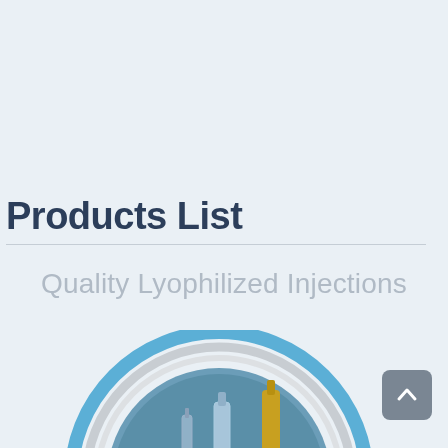Products List
Quality Lyophilized Injections
[Figure (illustration): Circular badge with concentric rings in blue and grey showing pharmaceutical injections (vials and ampoules) with text 'INJECTIONS LIQUID & LYOPHILIZ' in white on a teal/blue background]
[Figure (other): Scroll-to-top button: dark grey rounded square with a white upward chevron arrow]